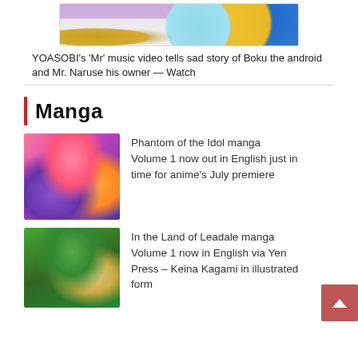[Figure (illustration): Anime scene screenshot showing golden boots on left, a teal cup, yellow container, and a large blue robotic eye on a hexagonal tray, purple background]
YOASOBI's 'Mr' music video tells sad story of Boku the android and Mr. Naruse his owner — Watch
Manga
[Figure (illustration): Cover of Phantom of the Idol manga Volume 1 showing anime characters including a pink-haired girl and a brown-haired boy with a microphone, star design]
Phantom of the Idol manga Volume 1 now out in English just in time for anime's July premiere
[Figure (illustration): Cover of In the Land of Leadale manga Volume 1 showing anime characters in a forest setting, blonde girl and brown-haired characters]
In the Land of Leadale manga Volume 1 now in English via Yen Press – Keina Kagami in illustrated form